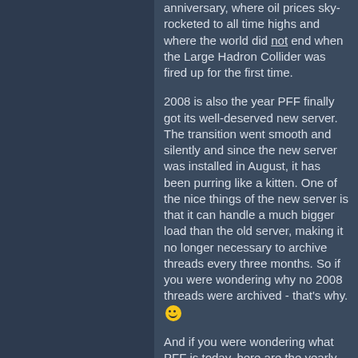anniversary, where oil prices sky-rocketed to all time highs and where the world did not end when the Large Hadron Collider was fired up for the first time.
2008 is also the year PFF finally got its well-deserved new server. The transition went smooth and silently and since the new server was installed in August, it has been purring like a kitten. One of the nice things of the new server is that it can handle a much bigger load than the old server, making it no longer necessary to archive threads every three months. So if you were wondering why no 2008 threads were archived - that's why. 🙂
And if you were wondering what PFF is today, here are the yearly stats:
In 2008, 26,672 new threads have been started and 368,540 new messages have been posted (which averages to 1,007 new messages per day!). This